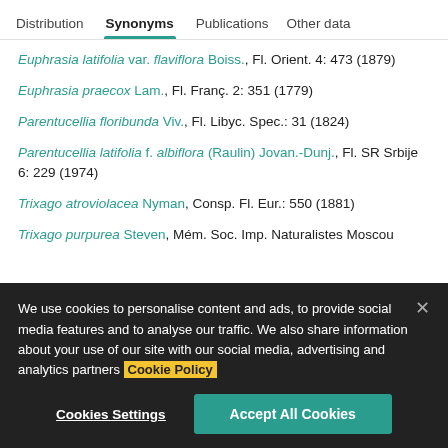Distribution | Synonyms | Publications | Other data
Euphrasia latifolia var. flaviflora Boiss., Fl. Orient. 4: 473 (1879)
Euphrasia praecox Lam., Fl. Franç. 2: 351 (1779)
Parentucellia floribunda Viv., Fl. Libyc. Spec.: 31 (1824)
Parentucellia latifolia f. albiflora (Raulin) Jovan.-Dunj., Fl. SR Srbije 6: 229 (1974)
Trixago atroviolacea Nyman, Consp. Fl. Eur.: 550 (1881)
Trixago purpurea Steven, Mém. Soc. Imp. Naturalistes Moscou
We use cookies to personalise content and ads, to provide social media features and to analyse our traffic. We also share information about your use of our site with our social media, advertising and analytics partners Cookie Policy
Cookies Settings
Accept All Cookies